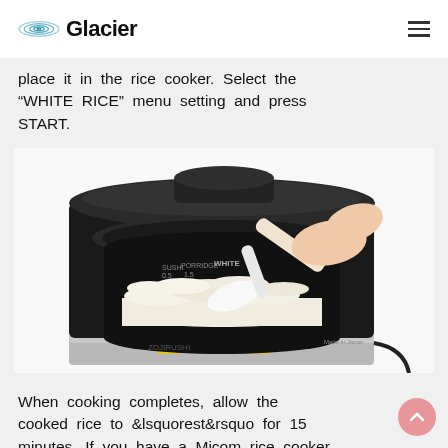Glacier
place it in the rice cooker. Select the “WHITE RICE” menu setting and press START.
[Figure (photo): A hand holding a white rice paddle/spatula stirring cooked white rice inside an open black Zojirushi rice cooker, with measurement markings visible on the inner pot and the Zojirushi brand name on the front of the appliance.]
When cooking completes, allow the cooked rice to &lsquorest&rsquo for 15 minutes. If you have a Micom rice cooker